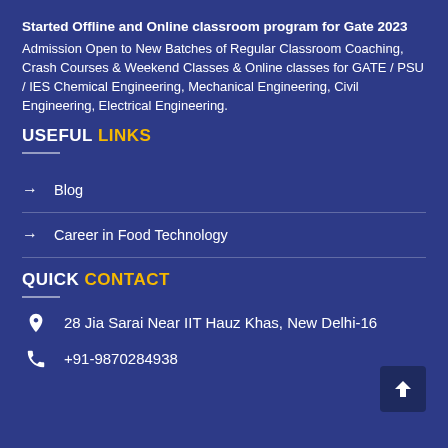Started Offline and Online classroom program for Gate 2023
Admission Open to New Batches of Regular Classroom Coaching, Crash Courses & Weekend Classes & Online classes for GATE / PSU / IES Chemical Engineering, Mechanical Engineering, Civil Engineering, Electrical Engineering.
USEFUL LINKS
Blog
Career in Food Technology
QUICK CONTACT
28 Jia Sarai Near IIT Hauz Khas, New Delhi-16
+91-9870284938